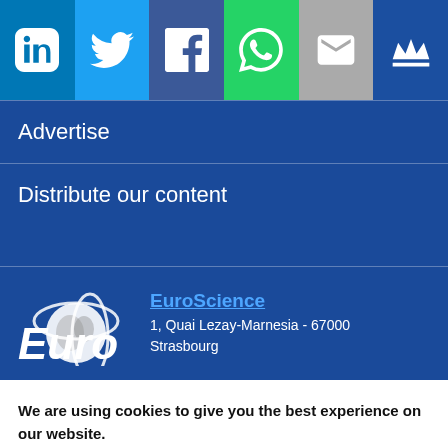[Figure (infographic): Social sharing bar with icons: LinkedIn (blue), Twitter (light blue), Facebook (dark blue), WhatsApp (green), Email (grey), Crown/premium (dark blue)]
Advertise
Distribute our content
[Figure (logo): EuroScience globe logo with orbital rings, partial 'Euro' text visible, with address: EuroScience, 1, Quai Lezay-Marnesia - 67000 Strasbourg]
We are using cookies to give you the best experience on our website.
You can find out more about which cookies we are using or switch them off in settings.
Accept
Reject